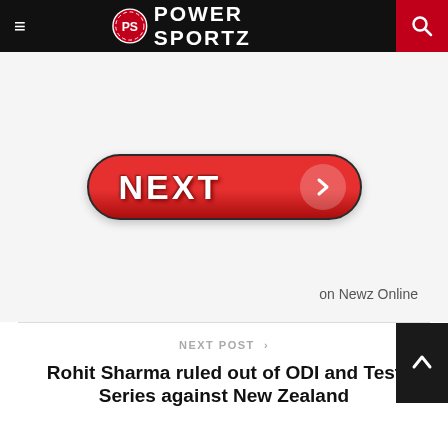PS POWER SPORTZ
[Figure (other): NEXT button with arrow in red pill shape on light grey background, with 'on Newz Online' text at bottom right]
on Newz Online
NEXT POST >
Rohit Sharma ruled out of ODI and Test Series against New Zealand